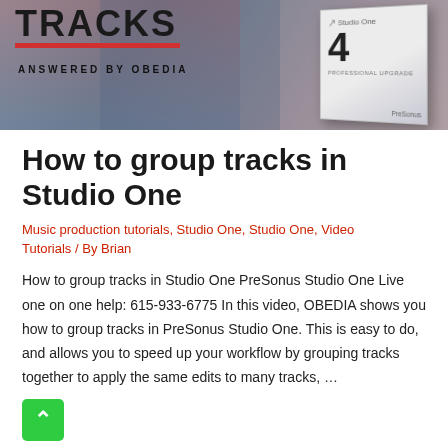[Figure (illustration): Banner image with 'TRACKS' text in large bold letters, 'ANSWERED BY OBEDIA' subtitle, and a Studio One 4 software box on the right against a blurred music studio background.]
How to group tracks in Studio One
Music production tutorials, Studio One, Studio One, Video Tutorials / By Brian
How to group tracks in Studio One PreSonus Studio One Live one on one help: 615-933-6775 In this video, OBEDIA shows you how to group tracks in PreSonus Studio One. This is easy to do, and allows you to speed up your workflow by grouping tracks together to apply the same edits to many tracks, …
Read More »